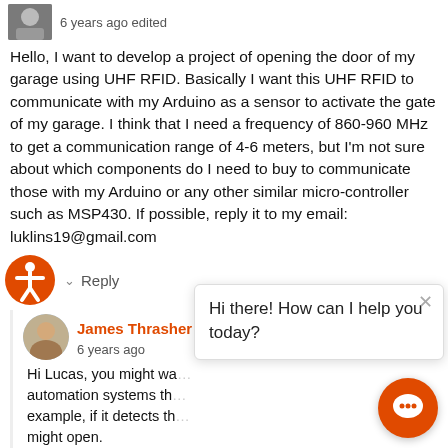6 years ago edited
Hello, I want to develop a project of opening the door of my garage using UHF RFID. Basically I want this UHF RFID to communicate with my Arduino as a sensor to activate the gate of my garage. I think that I need a frequency of 860-960 MHz to get a communication range of 4-6 meters, but I'm not sure about which components do I need to buy to communicate those with my Arduino or any other similar micro-controller such as MSP430. If possible, reply it to my email: luklins19@gmail.com
Reply
James Thrasher • Lucas Tarcino L... 6 years ago
Hi Lucas, you might wa... automation systems th... example, if it detects th... might open.

UHF RFID hardware has a slightly higher price po... since they're designed to be workhorses for enterp... applications.
Hi there! How can I help you today?